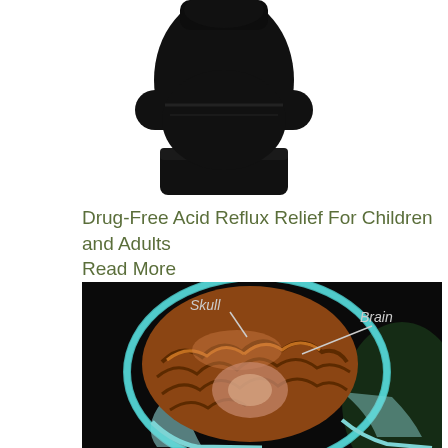[Figure (photo): Photo of a person in black clothing, cropped at torso/hips area, arms crossed, white background]
Drug-Free Acid Reflux Relief For Children and Adults
Read More
[Figure (photo): Medical cross-section image of a human skull and brain scan with labels 'Skull' and 'Brain' with annotation lines pointing to each structure]